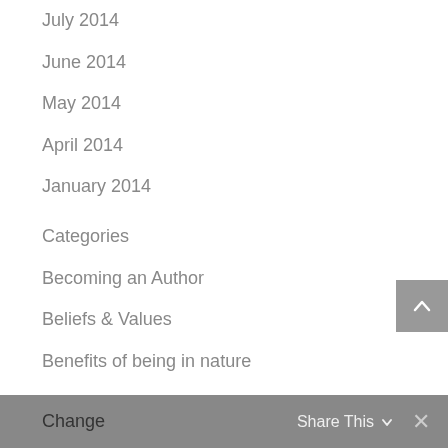July 2014
June 2014
May 2014
April 2014
January 2014
Categories
Becoming an Author
Beliefs & Values
Benefits of being in nature
Body-centered coaching
Celebrating
Change   Share This  ×